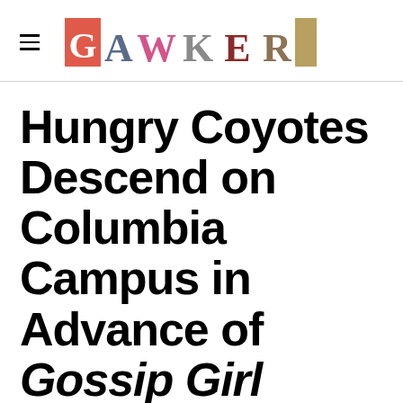GAWKER
Hungry Coyotes Descend on Columbia Campus in Advance of Gossip Girl Shoot
Adrian Chen   12.26K